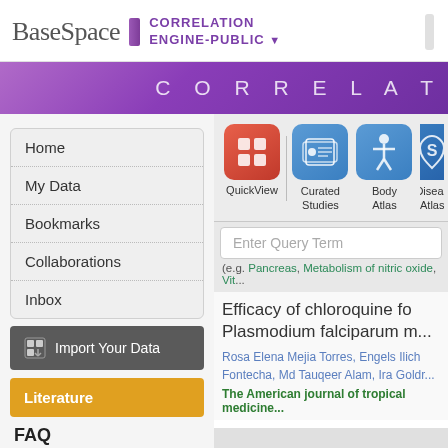BaseSpace | CORRELATION ENGINE-PUBLIC
[Figure (screenshot): Purple gradient banner with text CORRELAT (truncated)]
Home
My Data
Bookmarks
Collaborations
Inbox
[Figure (screenshot): Import Your Data button with icon]
Literature
FAQ
• What criteria does
[Figure (screenshot): Navigation icons: QuickView (red grid), Curated Studies (blue film strip), Body Atlas (blue figure), Disease Atlas (blue S symbol)]
Enter Query Term
(e.g. Pancreas, Metabolism of nitric oxide, Vit...
Efficacy of chloroquine fo... Plasmodium falciparum m...
Rosa Elena Mejia Torres, Engels Ilich ... Fontecha, Md Tauqeer Alam, Ira Goldr...
The American journal of tropical medicine...